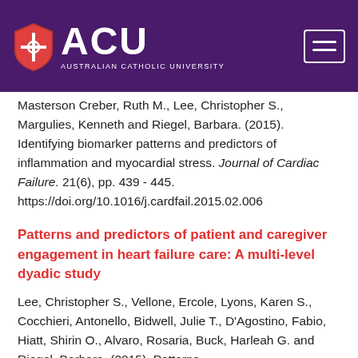ACU - Australian Catholic University
Masterson Creber, Ruth M., Lee, Christopher S., Margulies, Kenneth and Riegel, Barbara. (2015). Identifying biomarker patterns and predictors of inflammation and myocardial stress. Journal of Cardiac Failure. 21(6), pp. 439 - 445. https://doi.org/10.1016/j.cardfail.2015.02.006
Patterns and predictors of patient and caregiver engagement in heart failure care: A multi-level dyadic study
Lee, Christopher S., Vellone, Ercole, Lyons, Karen S., Cocchieri, Antonello, Bidwell, Julie T., D'Agostino, Fabio, Hiatt, Shirin O., Alvaro, Rosaria, Buck, Harleah G. and Riegel, Barbara. (2015). Patterns